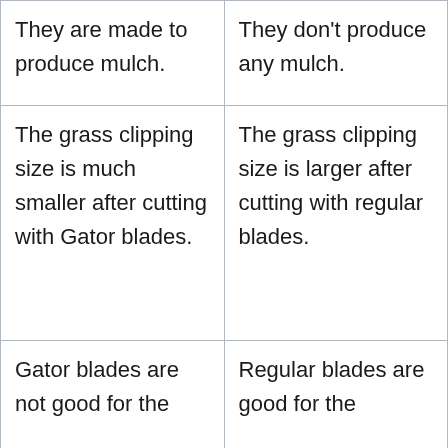| They are made to produce mulch. | They don't produce any mulch. |
| The grass clipping size is much smaller after cutting with Gator blades. | The grass clipping size is larger after cutting with regular blades. |
| Gator blades are not good for the | Regular blades are good for the |